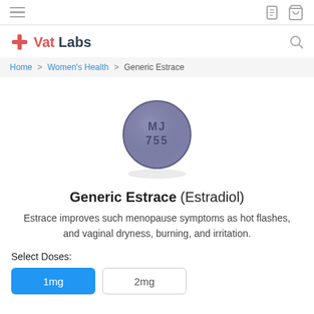Vat Labs — navigation bar with hamburger menu, order and cart icons
Vat Labs
Home > Women's Health > Generic Estrace
[Figure (photo): A round blue-grey pill tablet imprinted with MJ 755]
Generic Estrace (Estradiol)
Estrace improves such menopause symptoms as hot flashes, and vaginal dryness, burning, and irritation.
Select Doses:
1mg
2mg